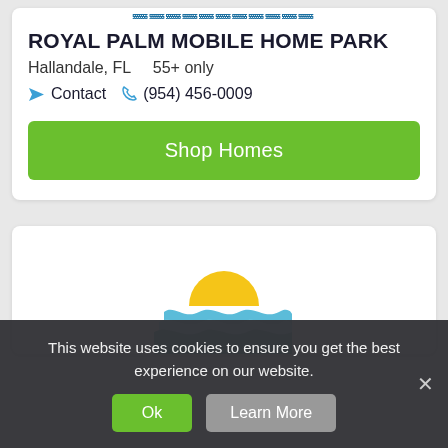ROYAL PALM MOBILE HOME PARK
Hallandale, FL   55+ only
Contact   (954) 456-0009
Shop Homes
[Figure (logo): Sun and waves logo mark — yellow semicircle sun above light blue and teal wavy lines]
This website uses cookies to ensure you get the best experience on our website.
Ok
Learn More